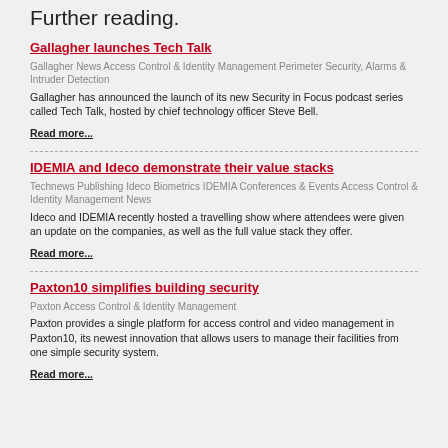Further reading.
Gallagher launches Tech Talk
Gallagher News Access Control & Identity Management Perimeter Security, Alarms & Intruder Detection
Gallagher has announced the launch of its new Security in Focus podcast series called Tech Talk, hosted by chief technology officer Steve Bell.
Read more...
IDEMIA and Ideco demonstrate their value stacks
Technews Publishing Ideco Biometrics IDEMIA Conferences & Events Access Control & Identity Management News
Ideco and IDEMIA recently hosted a travelling show where attendees were given an update on the companies, as well as the full value stack they offer.
Read more...
Paxton10 simplifies building security
Paxton Access Control & Identity Management
Paxton provides a single platform for access control and video management in Paxton10, its newest innovation that allows users to manage their facilities from one simple security system.
Read more...